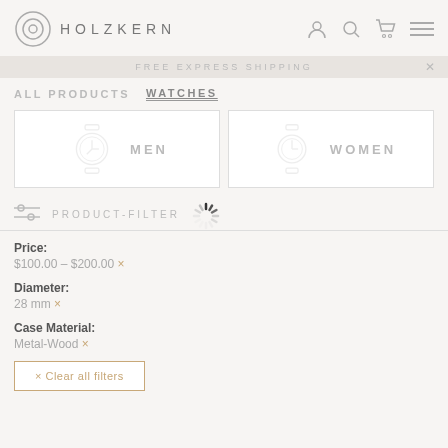HOLZKERN
FREE EXPRESS SHIPPING
ALL PRODUCTS   WATCHES
[Figure (illustration): Two category boxes showing MEN and WOMEN watches with watch face icons]
PRODUCT-FILTER
[Figure (other): Loading spinner animation]
Price:
$100.00 – $200.00 ×
Diameter:
28 mm ×
Case Material:
Metal-Wood ×
× Clear all filters